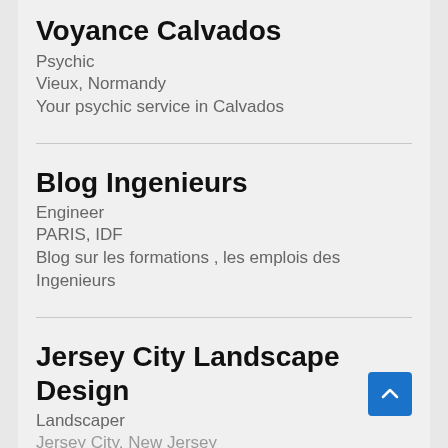Voyance Calvados
Psychic
Vieux, Normandy
Your psychic service in Calvados
Blog Ingenieurs
Engineer
PARIS, IDF
Blog sur les formations , les emplois des Ingenieurs
Jersey City Landscape Design
Landscaper
Jersey City, New Jersey